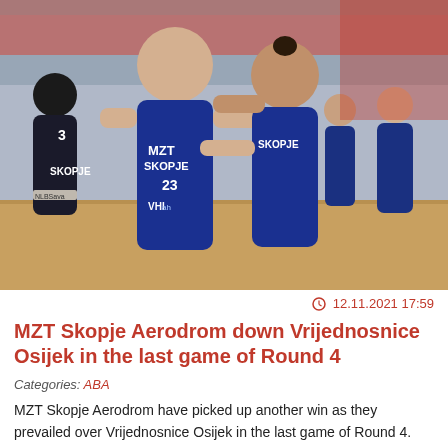[Figure (photo): Basketball players in blue MZT Skopje jerseys celebrating on court, two players in foreground embracing and laughing, others visible in background]
12.11.2021 17:59
MZT Skopje Aerodrom down Vrijednosnice Osijek in the last game of Round 4
Categories: ABA
MZT Skopje Aerodrom have picked up another win as they prevailed over Vrijednosnice Osijek in the last game of Round 4.